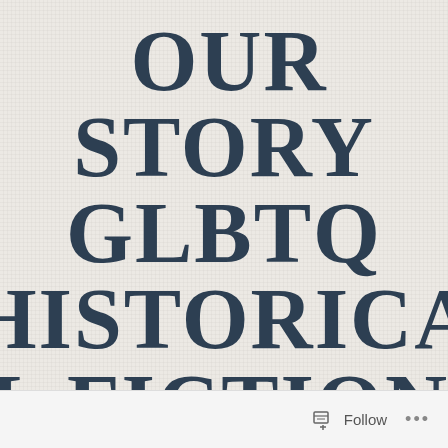OUR STORY GLBTQ HISTORICAL FICTION
WE WERE HERE ... WE WERE QUEER!
Follow ...